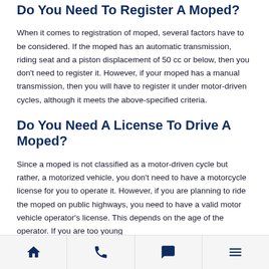Do You Need To Register A Moped?
When it comes to registration of moped, several factors have to be considered. If the moped has an automatic transmission, riding seat and a piston displacement of 50 cc or below, then you don't need to register it. However, if your moped has a manual transmission, then you will have to register it under motor-driven cycles, although it meets the above-specified criteria.
Do You Need A License To Drive A Moped?
Since a moped is not classified as a motor-driven cycle but rather, a motorized vehicle, you don't need to have a motorcycle license for you to operate it. However, if you are planning to ride the moped on public highways, you need to have a valid motor vehicle operator's license. This depends on the age of the operator. If you are too young